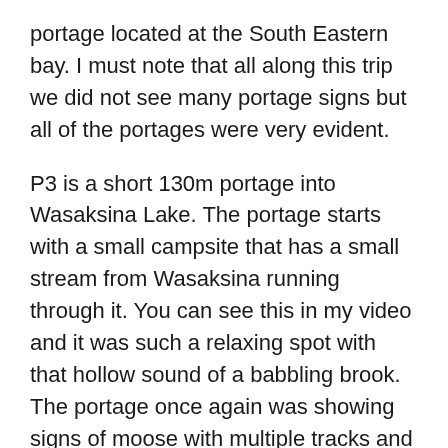portage located at the South Eastern bay. I must note that all along this trip we did not see many portage signs but all of the portages were very evident.
P3 is a short 130m portage into Wasaksina Lake. The portage starts with a small campsite that has a small stream from Wasaksina running through it. You can see this in my video and it was such a relaxing spot with that hollow sound of a babbling brook. The portage once again was showing signs of moose with multiple tracks and droppings, but no moose in sight to associate with them.
Wasaksina is a lake that is very familiar to me. I have been here a few times to link up other Temagami routes. It also is full of monster bass, and I knew of a perfect campsite for us to make camp. We were soon at our